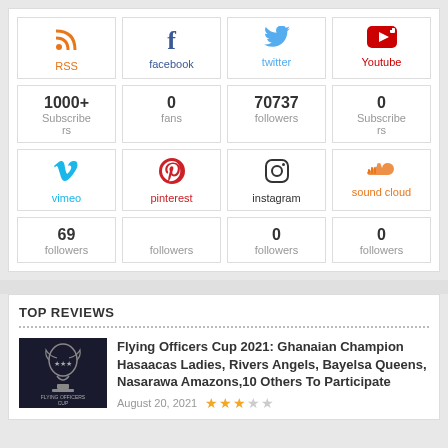[Figure (infographic): Social media stats widget showing RSS (1000+ Subscribers), Facebook (0 fans), Twitter (70737 followers), Youtube (0 Subscribers), Vimeo (69 followers), Pinterest (followers), Instagram (0 followers), Sound Cloud (0 followers)]
TOP REVIEWS
[Figure (photo): Dark thumbnail image showing a trophy/cup with text 'FLYING OFFICERS CUP']
Flying Officers Cup 2021: Ghanaian Champion Hasaacas Ladies, Rivers Angels, Bayelsa Queens, Nasarawa Amazons,10 Others To Participate
August 20, 2021